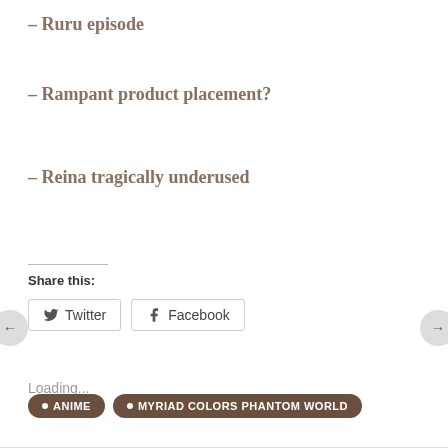– Ruru episode
– Rampant product placement?
– Reina tragically underused
Share this:
Twitter  Facebook
Loading...
• ANIME   • MYRIAD COLORS PHANTOM WORLD